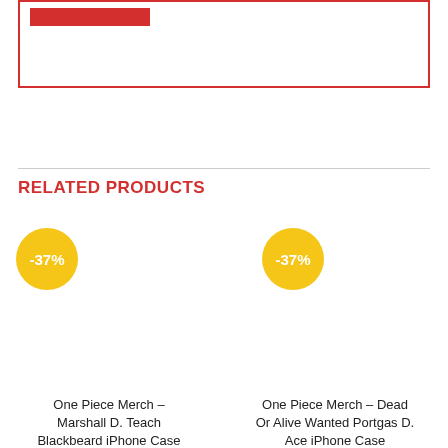[Figure (screenshot): Top red-bordered box with a red horizontal bar at the top-left inside it]
RELATED PRODUCTS
[Figure (other): Product card left: yellow -37% discount badge over blank product image area]
One Piece Merch – Marshall D. Teach Blackbeard iPhone Case
[Figure (other): Product card right: yellow -37% discount badge over blank product image area]
One Piece Merch – Dead Or Alive Wanted Portgas D. Ace iPhone Case